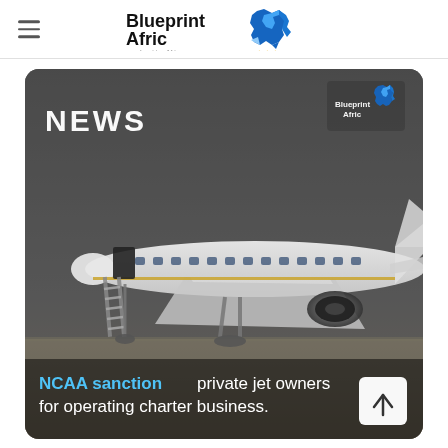[Figure (logo): Blueprint Afric logo with blue geometric Africa map shape and bold black text 'Blueprint Afric' with tagline '...Inspiring Africa' and gold stars]
[Figure (photo): News article card with dark-overlaid photo of a private/business jet on a tarmac with boarding stairs deployed. Top-left 'NEWS' label in bold white text. Top-right Blueprint Afric watermark logo. Bottom headline text: 'NCAA sanction private jet owners for operating charter business.']